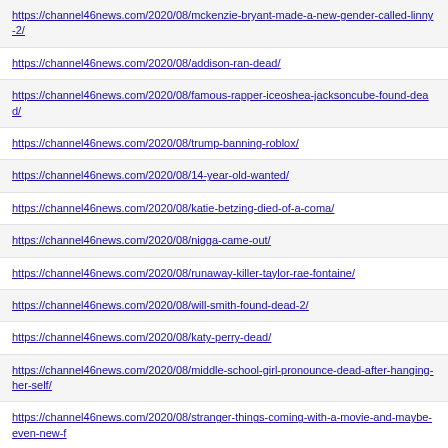https://channel46news.com/2020/08/mckenzie-bryant-made-a-new-gender-called-linny-2/
https://channel46news.com/2020/08/addison-ran-dead/
https://channel46news.com/2020/08/famous-rapper-iceoshea-jacksoncube-found-dead/
https://channel46news.com/2020/08/trump-banning-roblox/
https://channel46news.com/2020/08/14-year-old-wanted/
https://channel46news.com/2020/08/katie-betzing-died-of-a-coma/
https://channel46news.com/2020/08/nigga-came-out/
https://channel46news.com/2020/08/runaway-killer-taylor-rae-fontaine/
https://channel46news.com/2020/08/will-smith-found-dead-2/
https://channel46news.com/2020/08/katy-perry-dead/
https://channel46news.com/2020/08/middle-school-girl-pronounce-dead-after-hanging-her-self/
https://channel46news.com/2020/08/stranger-things-coming-with-a-movie-and-maybe-even-new-f